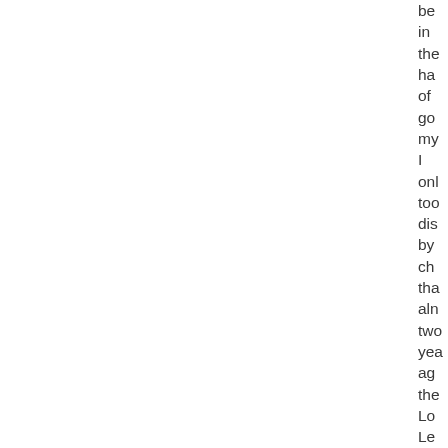be in the ha of go my I onl too dis by ch that aln two yea ag the Lo Le site de pu me on its list of "co fro gr He wh the